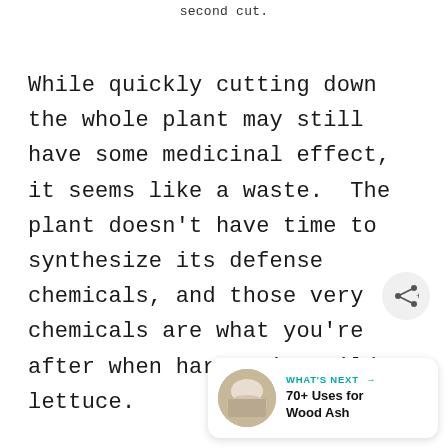second cut.
While quickly cutting down the whole plant may still have some medicinal effect, it seems like a waste.  The plant doesn't have time to synthesize its defense chemicals, and those very chemicals are what you're after when harvesting wild lettuce.
[Figure (other): Share button icon (circular button with share/network icon)]
[Figure (other): What's Next promo card with photo thumbnail and text '70+ Uses for Wood Ash']